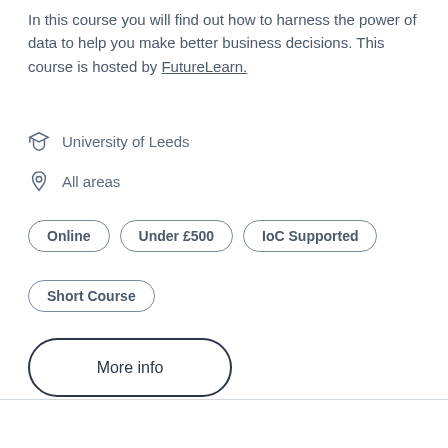In this course you will find out how to harness the power of data to help you make better business decisions. This course is hosted by FutureLearn.
University of Leeds
All areas
Online
Under £500
IoC Supported
Short Course
More info